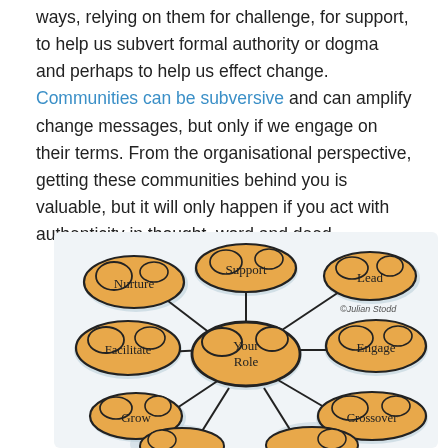ways, relying on them for challenge, for support, to help us subvert formal authority or dogma and perhaps to help us effect change. Communities can be subversive and can amplify change messages, but only if we engage on their terms. From the organisational perspective, getting these communities behind you is valuable, but it will only happen if you act with authenticity in thought, word and deed.
[Figure (illustration): A hand-drawn mind map illustration by Julian Stodd showing 'Your Role' in the center connected to surrounding cloud-shaped nodes labeled: Nurture, Support, Lead, Facilitate, Engage, Grow, Crossover, and two partially visible nodes at the bottom. The clouds are drawn in orange/yellow with blue-grey shadows.]